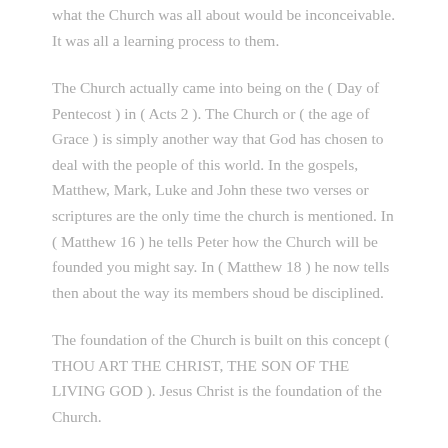what the Church was all about would be inconceivable. It was all a learning process to them.
The Church actually came into being on the ( Day of Pentecost ) in ( Acts 2 ). The Church or ( the age of Grace ) is simply another way that God has chosen to deal with the people of this world. In the gospels, Matthew, Mark, Luke and John these two verses or scriptures are the only time the church is mentioned. In ( Matthew 16 ) he tells Peter how the Church will be founded you might say. In ( Matthew 18 ) he now tells then about the way its members shoud be disciplined.
The foundation of the Church is built on this concept ( THOU ART THE CHRIST, THE SON OF THE LIVING GOD ). Jesus Christ is the foundation of the Church.